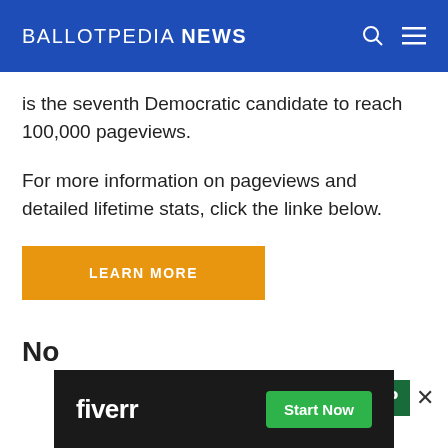BALLOTPEDIA NEWS
is the seventh Democratic candidate to reach 100,000 pageviews.
For more information on pageviews and detailed lifetime stats, click the linke below.
LEARN MORE
[Figure (screenshot): Advertisement banner: Fiverr logo with Start Now button on dark background]
No